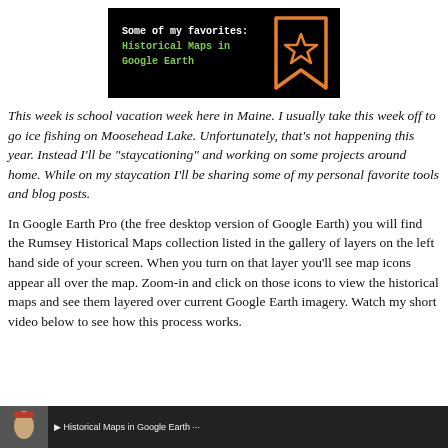[Figure (illustration): Black banner image with white monospace text 'Some of my favorites:' and green text 'Historical Maps in Google Earth', with an orange bookmark/ribbon icon with a star on the right side.]
This week is school vacation week here in Maine. I usually take this week off to go ice fishing on Moosehead Lake. Unfortunately, that's not happening this year. Instead I'll be "staycationing" and working on some projects around home. While on my staycation I'll be sharing some of my personal favorite tools and blog posts.
In Google Earth Pro (the free desktop version of Google Earth) you will find the Rumsey Historical Maps collection listed in the gallery of layers on the left hand side of your screen. When you turn on that layer you'll see map icons appear all over the map. Zoom-in and click on those icons to view the historical maps and see them layered over current Google Earth imagery. Watch my short video below to see how this process works.
[Figure (screenshot): Bottom strip showing the beginning of a video screenshot with a dark background, showing a person and some interface elements.]